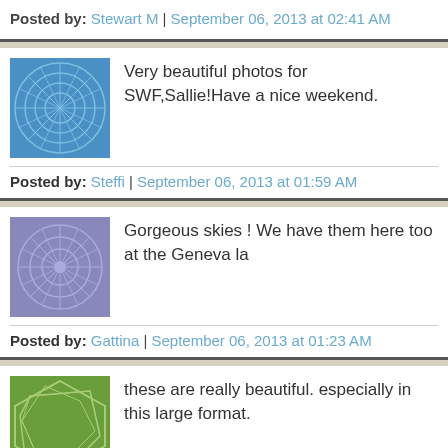Posted by: Stewart M | September 06, 2013 at 02:41 AM
Very beautiful photos for SWF,Sallie!Have a nice weekend.
Posted by: Steffi | September 06, 2013 at 01:59 AM
Gorgeous skies ! We have them here too at the Geneva la
Posted by: Gattina | September 06, 2013 at 01:23 AM
these are really beautiful. especially in this large format.
Posted by: Photo Cache | September 05, 2013 at 09:25 PM
Beautiful sun rays!